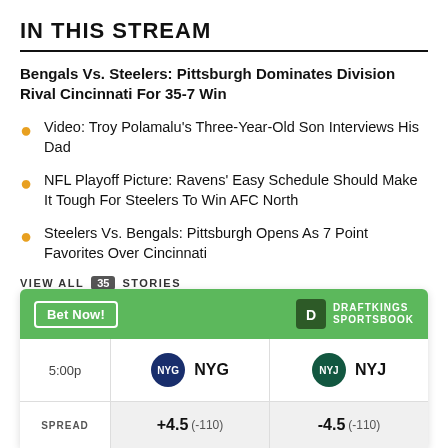IN THIS STREAM
Bengals Vs. Steelers: Pittsburgh Dominates Division Rival Cincinnati For 35-7 Win
Video: Troy Polamalu's Three-Year-Old Son Interviews His Dad
NFL Playoff Picture: Ravens' Easy Schedule Should Make It Tough For Steelers To Win AFC North
Steelers Vs. Bengals: Pittsburgh Opens As 7 Point Favorites Over Cincinnati
VIEW ALL 35 STORIES
[Figure (other): DraftKings Sportsbook betting widget showing NYG vs NYJ matchup at 5:00p with spread +4.5 (-110) for NYG and -4.5 (-110) for NYJ]